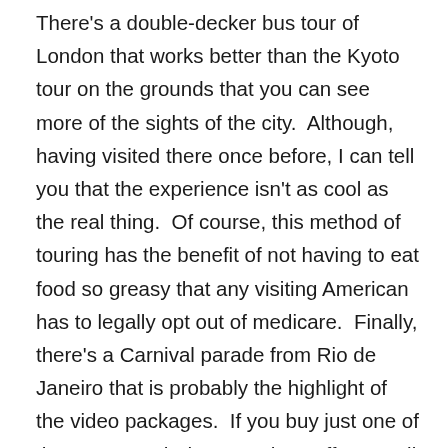There's a double-decker bus tour of London that works better than the Kyoto tour on the grounds that you can see more of the sights of the city.  Although, having visited there once before, I can tell you that the experience isn't as cool as the real thing.  Of course, this method of touring has the benefit of not having to eat food so greasy that any visiting American has to legally opt out of medicare.  Finally, there's a Carnival parade from Rio de Janeiro that is probably the highlight of the video packages.  If you buy just one of these as a tech demo to show off your Wii U to friends, get this one.  It will still ultimately leave users saying “wait, that’s it?” when it ends, but I found that every person I showed these to, no matter what video, was grinning the entire time.  The older people, especially.  My parents (aged 63 and 44) were dazzled by these videos, and even my crotchety godfather A.J., who said “I don’t